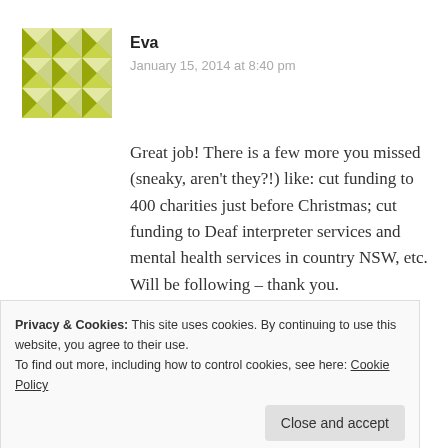[Figure (illustration): Green/yellow geometric tile pattern avatar for user Eva]
Eva
January 15, 2014 at 8:40 pm
Great job! There is a few more you missed (sneaky, aren't they?!) like: cut funding to 400 charities just before Christmas; cut funding to Deaf interpreter services and mental health services in country NSW, etc. Will be following – thank you.
★ Like
Reply
Privacy & Cookies: This site uses cookies. By continuing to use this website, you agree to their use.
To find out more, including how to control cookies, see here: Cookie Policy
Close and accept
Thank you. Ive added Number 57. I